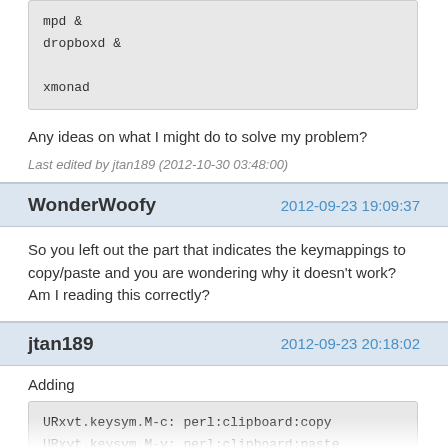mpd &
dropboxd &

xmonad
Any ideas on what I might do to solve my problem?
Last edited by jtan189 (2012-10-30 03:48:00)
WonderWoofy	2012-09-23 19:09:37
So you left out the part that indicates the keymappings to copy/paste and you are wondering why it doesn't work?  Am I reading this correctly?
jtan189	2012-09-23 20:18:02
Adding
URxvt.keysym.M-c:   perl:clipboard:copy
URxvt.keysym.M-v:   perl:clipboard:paste
URxvt.keysym.M-C-v: perl:clipboard:paste_escaped